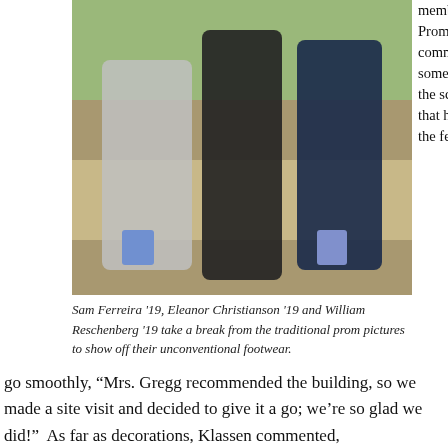[Figure (photo): Three prom students — Sam Ferreira '19, Eleanor Christianson '19, and William Reschenberg '19 — posing outdoors, showing off their unconventional footwear (colorful socks and no shoes).]
member of the Prom Planning committee, shared some of the behind the scenes work that helped make the festivities
Sam Ferreira '19, Eleanor Christianson '19 and William Reschenberg '19 take a break from the traditional prom pictures to show off their unconventional footwear.
go smoothly, “Mrs. Gregg recommended the building, so we made a site visit and decided to give it a go; we’re so glad we did!”  As far as decorations, Klassen commented,